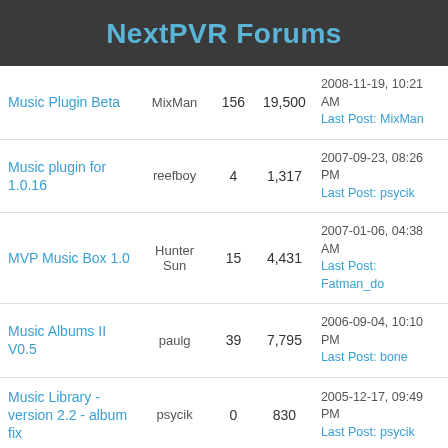NextPVR Forums
| Thread | Author | Replies | Views | Last Post |
| --- | --- | --- | --- | --- |
| Music Plugin Beta | MixMan | 156 | 19,500 | 2008-11-19, 10:21 AM
Last Post: MixMan |
| Music plugin for 1.0.16 | reefboy | 4 | 1,317 | 2007-09-23, 08:26 PM
Last Post: psycik |
| MVP Music Box 1.0 | Hunter Sun | 15 | 4,431 | 2007-01-06, 04:38 AM
Last Post: Fatman_do |
| Music Albums II V0.5 | paulg | 39 | 7,795 | 2006-09-04, 10:10 PM
Last Post: bone |
| Music Library - version 2.2 - album fix | psycik | 0 | 830 | 2005-12-17, 09:49 PM
Last Post: psycik |
| New Plugin: MusicLibrary2 v00 - Another music player | psycik | 16 | 15,442 | 2005-11-06, 03:15 AM
Last Post: psycik |